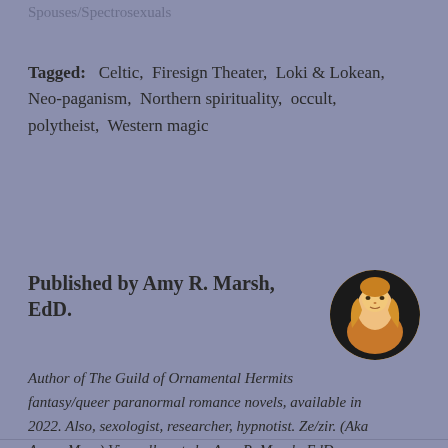Spouses/Spectrosexuals
Tagged:   Celtic,  Firesign Theater,  Loki & Lokean,  Neo-paganism,  Northern spirituality,  occult,  polytheist,  Western magic
Published by Amy R. Marsh, EdD.
Author of The Guild of Ornamental Hermits fantasy/queer paranormal romance novels, available in 2022. Also, sexologist, researcher, hypnotist. Ze/zir. (Aka Avnas Mars) View all posts by Amy R. Marsh, EdD.
[Figure (photo): Circular avatar photo of Amy R. Marsh, a person with long blonde hair against a warm golden-toned background.]